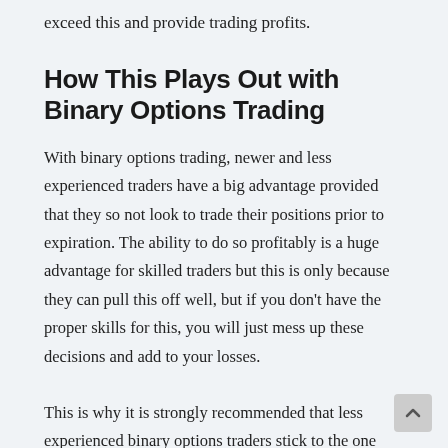exceed this and provide trading profits.
How This Plays Out with Binary Options Trading
With binary options trading, newer and less experienced traders have a big advantage provided that they so not look to trade their positions prior to expiration. The ability to do so profitably is a huge advantage for skilled traders but this is only because they can pull this off well, but if you don't have the proper skills for this, you will just mess up these decisions and add to your losses.
This is why it is strongly recommended that less experienced binary options traders stick to the one and done approach with their trades. This involves not